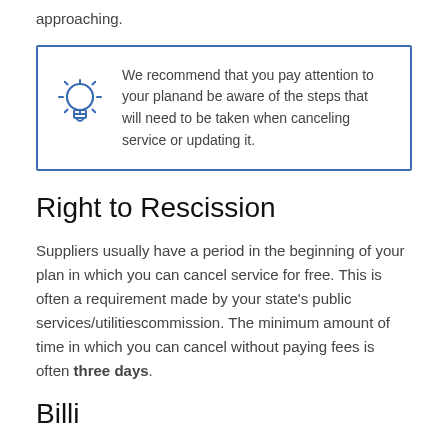approaching.
We recommend that you pay attention to your planand be aware of the steps that will need to be taken when canceling service or updating it.
Right to Rescission
Suppliers usually have a period in the beginning of your plan in which you can cancel service for free. This is often a requirement made by your state's public services/utilitiescommission. The minimum amount of time in which you can cancel without paying fees is often three days.
Billi